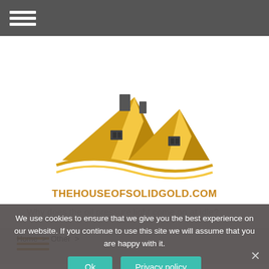[Figure (logo): Top navigation bar with white hamburger menu icon on dark gray background]
[Figure (logo): TheHouseOfSolidGold.com logo with golden house/roof illustration and gold text domain name]
[Figure (illustration): Gold/orange hamburger menu icon (three horizontal lines)]
Home > Other >
... Why does the oil pressure light come on at idle?
We use cookies to ensure that we give you the best experience on our website. If you continue to use this site we will assume that you are happy with it.
Ok
Privacy policy